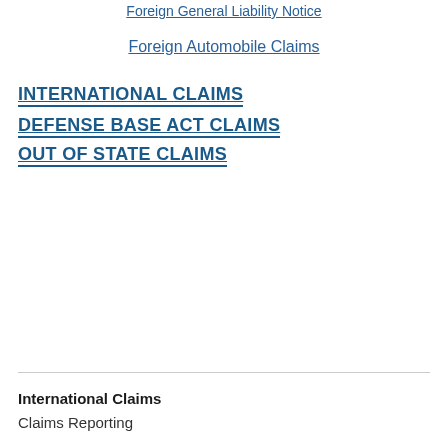Foreign General Liability Notice
Foreign Automobile Claims
INTERNATIONAL CLAIMS
DEFENSE BASE ACT CLAIMS
OUT OF STATE CLAIMS
International Claims
Claims Reporting